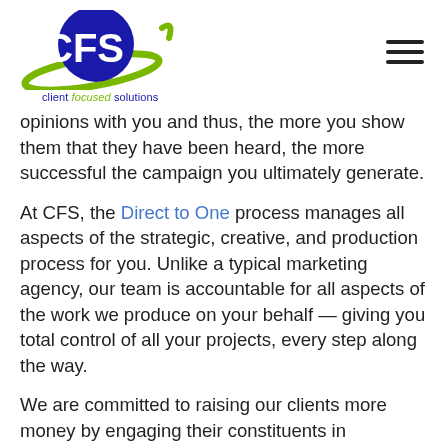CFS — client focused solutions
opinions with you and thus, the more you show them that they have been heard, the more successful the campaign you ultimately generate.
At CFS, the Direct to One process manages all aspects of the strategic, creative, and production process for you. Unlike a typical marketing agency, our team is accountable for all aspects of the work we produce on your behalf — giving you total control of all your projects, every step along the way.
We are committed to raising our clients more money by engaging their constituents in productive, appealing, personalized, and